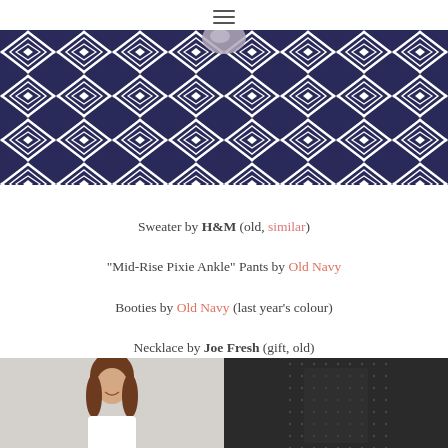≡
[Figure (photo): Close-up photo of a navy blue and white geometric diamond-pattern rug/textile with a stone or crystal object visible at the top]
Sweater by H&M (old, similar)
"Mid-Rise Pixie Ankle" Pants by Old Navy
Booties by Old Navy (last year's colour)
Necklace by Joe Fresh (gift, old)
[Figure (photo): Two product photos side by side at the bottom: left shows a woman smiling with brown hair on light grey background, right shows a black garment with small dot pattern on dark background]